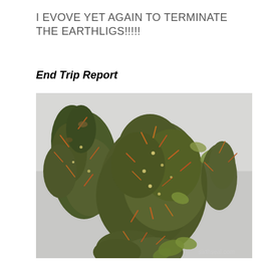I EVOVE YET AGAIN TO TERMINATE THE EARTHLIGS!!!!!
End Trip Report
[Figure (photo): Close-up photograph of cannabis buds (marijuana flowers) on a white background, showing dense green and orange-brown plant material. Watermark reads sixthseal.com in bottom right corner.]